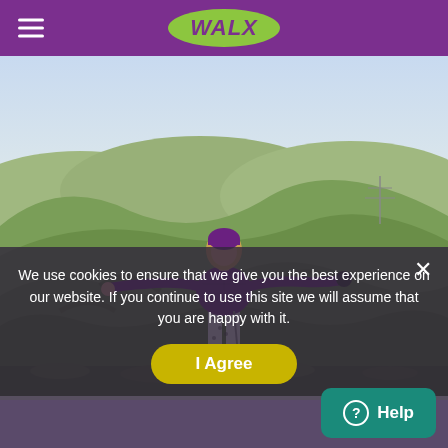[Figure (screenshot): WALX website header with purple navigation bar, hamburger menu on the left, and WALX logo in a green oval in the center.]
[Figure (photo): A woman in a purple puffer jacket and patterned leggings stands on a hilltop with arms outstretched, overlooking rolling green countryside hills under a bright sky.]
We use cookies to ensure that we give you the best experience on our website. If you continue to use this site we will assume that you are happy with it.
I Agree
Help